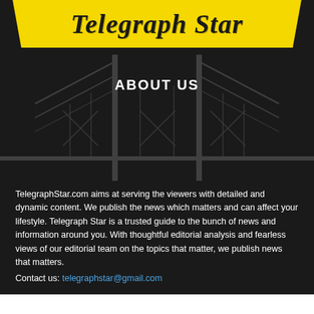[Figure (logo): Telegraph Star newspaper logo in black text on yellow banner with angled/trapezoid shape]
ABOUT US
TelegraphStar.com aims at serving the viewers with detailed and dynamic content. We publish the news which matters and can affect your lifestyle. Telegraph Star is a trusted guide to the bunch of news and information around you. With thoughtful editorial analysis and fearless views of our editorial team on the topics that matter, we publish news that matters.
Contact us: telegraphstar@gmail.com